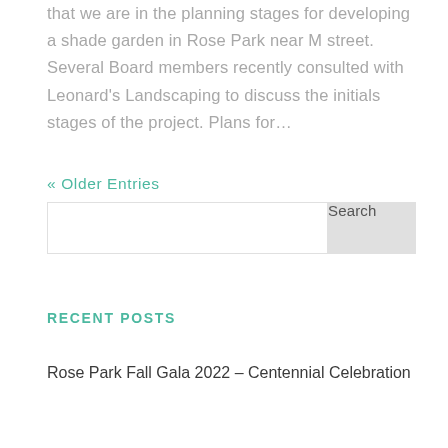that we are in the planning stages for developing a shade garden in Rose Park near M street. Several Board members recently consulted with Leonard's Landscaping to discuss the initials stages of the project. Plans for…
« Older Entries
Search
RECENT POSTS
Rose Park Fall Gala 2022 – Centennial Celebration